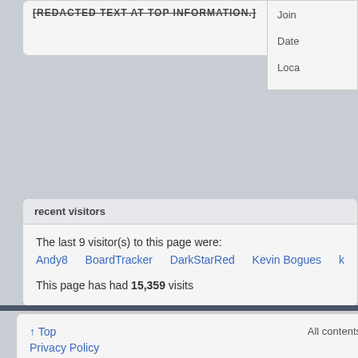[redacted text at top]
Join
Date
Loca
recent visitors
The last 9 visitor(s) to this page were:
Andy8  BoardTracker  DarkStarRed  Kevin Bogues  klb5090  mattsliva  se...
This page has had 15,359 visits
↑ Top
Privacy Policy
All times are GMT -4. The time now is 08:15 AM.
All contents ...